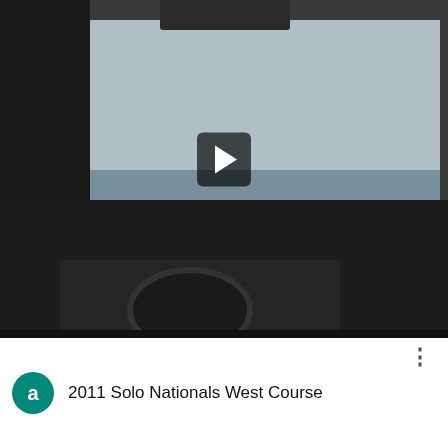[Figure (screenshot): Video player screenshot showing car interior/dashboard view with speedometer overlay showing 36 mph, Gear 2, current time 0:50.5, THROTTLE (green) and BRAKE indicators, with a play button overlay in the center]
[Figure (screenshot): Video list item card showing teal avatar circle with letter 'a', title '2011 Solo Nationals West Course', a three-dot menu icon, and a track map thumbnail on the right. Below shows a video thumbnail with reflected/mirror text logo.]
2011 Solo Nationals West Course